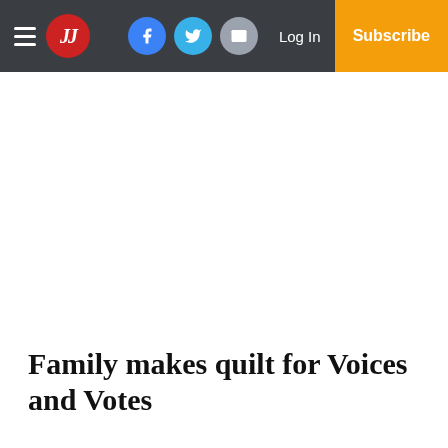JJ | Facebook | Twitter | Email | Log In | Subscribe
Family makes quilt for Voices and Votes